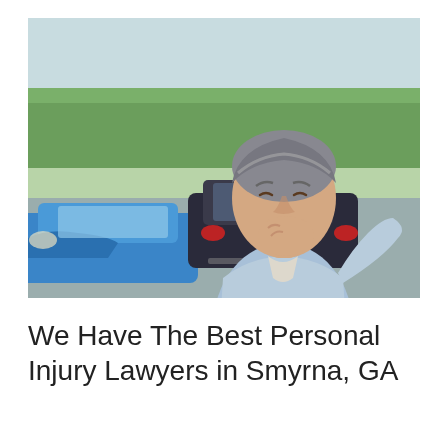[Figure (photo): A middle-aged man with grey hair grimacing and holding the back of his neck in pain, standing near a blue car that has been in a collision. A dark car is visible in the background on a road with trees.]
We Have The Best Personal Injury Lawyers in Smyrna, GA